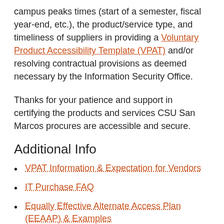campus peaks times (start of a semester, fiscal year-end, etc.), the product/service type, and timeliness of suppliers in providing a Voluntary Product Accessibility Template (VPAT) and/or resolving contractual provisions as deemed necessary by the Information Security Office.
Thanks for your patience and support in certifying the products and services CSU San Marcos procures are accessible and secure.
Additional Info
VPAT Information & Expectation for Vendors
IT Purchase FAQ
Equally Effective Alternate Access Plan (EEAAP) & Examples